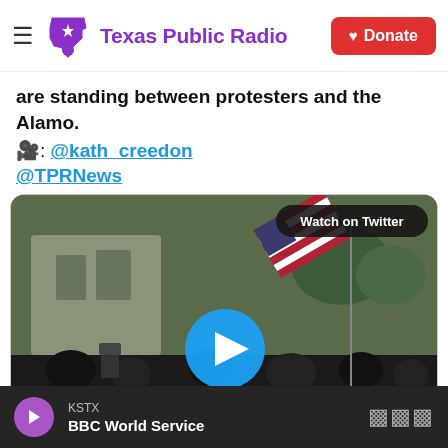Texas Public Radio | Donate
are standing between protesters and the Alamo.
🎥: @kath_creedon @TPRNews
[Figure (screenshot): Video thumbnail showing a crowd of people near the Alamo with an American flag being waved, with a blue play button overlay and 'Watch on Twitter' badge]
1:41 AM · May 31, 2020
KSTX / BBC World Service